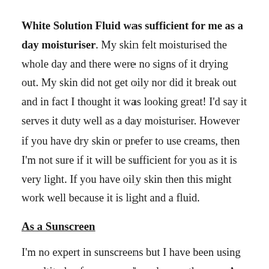White Solution Fluid was sufficient for me as a day moisturiser. My skin felt moisturised the whole day and there were no signs of it drying out. My skin did not get oily nor did it break out and in fact I thought it was looking great! I'd say it serves it duty well as a day moisturiser. However if you have dry skin or prefer to use creams, then I'm not sure if it will be sufficient for you as it is very light. If you have oily skin then this might work well because it is light and a fluid.
As a Sunscreen
I'm no expert in sunscreens but I have been using a multitude of sunscreen brands over the year. A common